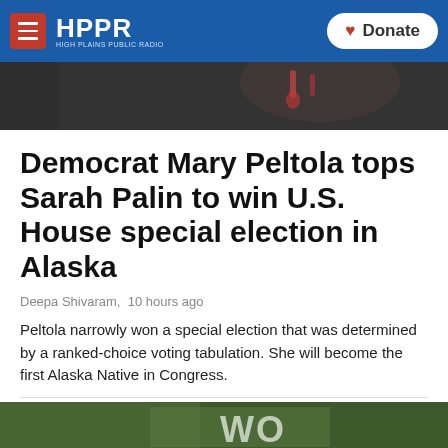HPPR HIGH PLAINS PUBLIC RADIO | Donate
[Figure (photo): Partial view of a person, likely a woman, with earrings visible against a dark background.]
Democrat Mary Peltola tops Sarah Palin to win U.S. House special election in Alaska
Deepa Shivaram,  10 hours ago
Peltola narrowly won a special election that was determined by a ranked-choice voting tabulation. She will become the first Alaska Native in Congress.
[Figure (photo): Partial bottom image, appears to be outdoor scene with text/sign reading 'WO' partially visible.]
HPPR News Morning Edition